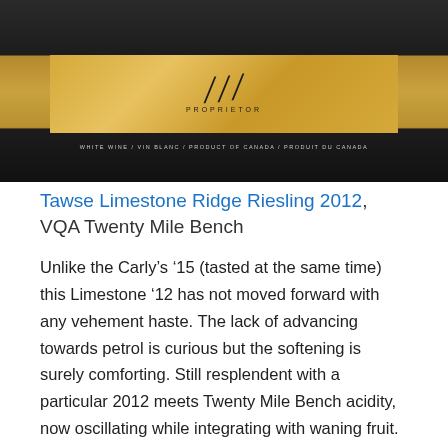[Figure (photo): Close-up photo of a Tawse wine bottle showing the gold label with a signature and 'PROPRIETOR' text, and a black neck label reading 'WHITE WINE / VIN BLANC / PRODUCT OF CANADA / PRODUIT DU CANADA']
Tawse Limestone Ridge Riesling 2012, VQA Twenty Mile Bench
Unlike the Carly’s ’15 (tasted at the same time) this Limestone ’12 has not moved forward with any vehement haste. The lack of advancing towards petrol is curious but the softening is surely comforting. Still resplendent with a particular 2012 meets Twenty Mile Bench acidity, now oscillating while integrating with waning fruit. Drinking beautifully.  Last tasted July 2021
From the newest estate vineyard, the single vineyard